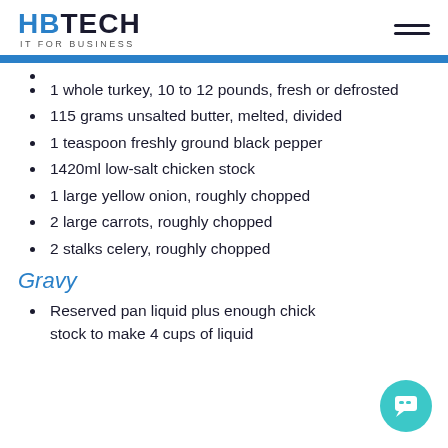HBTECH IT FOR BUSINESS
1 whole turkey, 10 to 12 pounds, fresh or defrosted
115 grams unsalted butter, melted, divided
1 teaspoon freshly ground black pepper
1420ml low-salt chicken stock
1 large yellow onion, roughly chopped
2 large carrots, roughly chopped
2 stalks celery, roughly chopped
Gravy
Reserved pan liquid plus enough chicken stock to make 4 cups of liquid